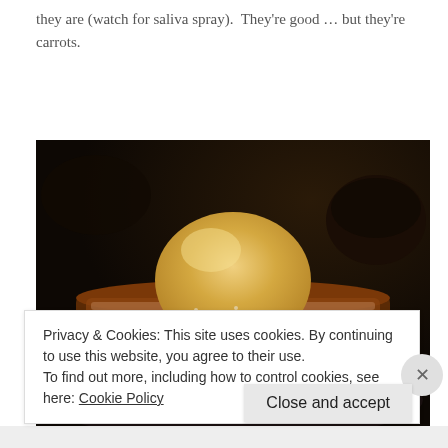they are (watch for saliva spray).  They're good … but they're carrots.
[Figure (photo): A dessert dish showing thick French toast topped with a large scoop of ice cream and dusted with powdered sugar, served in a dark cast iron skillet.]
Privacy & Cookies: This site uses cookies. By continuing to use this website, you agree to their use.
To find out more, including how to control cookies, see here: Cookie Policy
Close and accept